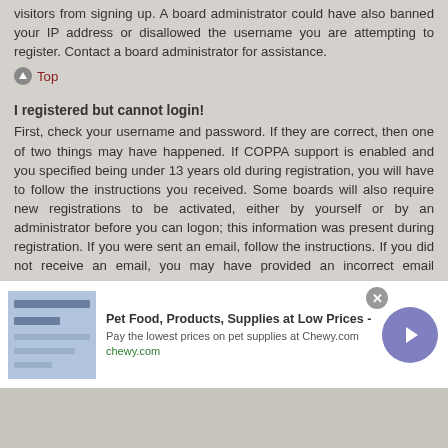visitors from signing up. A board administrator could have also banned your IP address or disallowed the username you are attempting to register. Contact a board administrator for assistance.
Top
I registered but cannot login!
First, check your username and password. If they are correct, then one of two things may have happened. If COPPA support is enabled and you specified being under 13 years old during registration, you will have to follow the instructions you received. Some boards will also require new registrations to be activated, either by yourself or by an administrator before you can logon; this information was present during registration. If you were sent an email, follow the instructions. If you did not receive an email, you may have provided an incorrect email address or the email may have been picked up by a spam filer. If you are sure the email address you provided is correct, try contacting an administrator.
Top
Why can't I login?
[Figure (other): Advertisement banner for Chewy.com: Pet Food, Products, Supplies at Low Prices - Pay the lowest prices on pet supplies at Chewy.com]